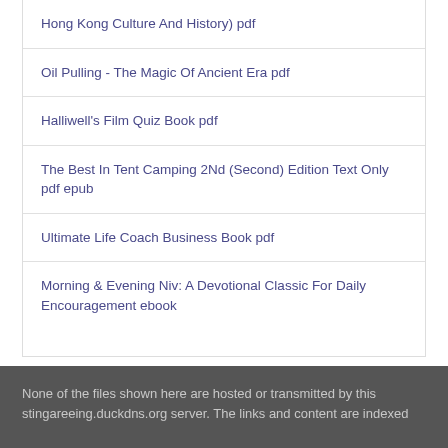Hong Kong Culture And History) pdf
Oil Pulling - The Magic Of Ancient Era pdf
Halliwell's Film Quiz Book pdf
The Best In Tent Camping 2Nd (Second) Edition Text Only pdf epub
Ultimate Life Coach Business Book pdf
Morning & Evening Niv: A Devotional Classic For Daily Encouragement ebook
None of the files shown here are hosted or transmitted by this stingareeing.duckdns.org server. The links and content are indexed